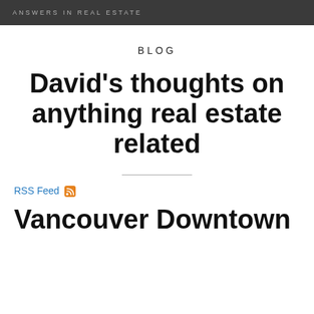ANSWERS IN REAL ESTATE
BLOG
David's thoughts on anything real estate related
RSS Feed
Vancouver Downtown